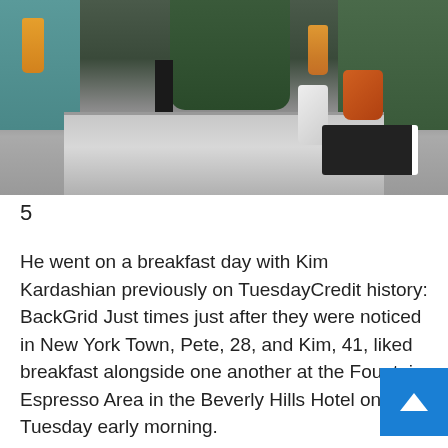[Figure (photo): Photo of people seated at a restaurant breakfast table with orange juice glasses, cups, a white pitcher, an orange mug, and food items on a metallic table surface. People wearing green and teal clothing are visible in the background.]
5
He went on a breakfast day with Kim Kardashian previously on TuesdayCredit history: BackGrid Just times just after they were noticed in New York Town, Pete, 28, and Kim, 41, liked breakfast alongside one another at the Fountain Espresso Area in the Beverly Hills Hotel on Tuesday early morning.